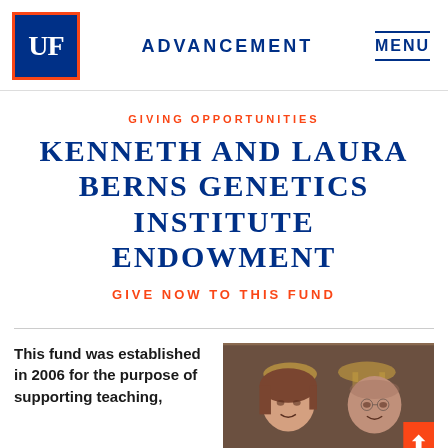UF ADVANCEMENT MENU
GIVING OPPORTUNITIES
KENNETH AND LAURA BERNS GENETICS INSTITUTE ENDOWMENT
GIVE NOW TO THIS FUND
This fund was established in 2006 for the purpose of supporting teaching,
[Figure (photo): Photo of Kenneth and Laura Berns, a couple smiling, in a restaurant or event setting with golden chair backs visible in the background. An orange arrow overlay appears in the lower right corner.]